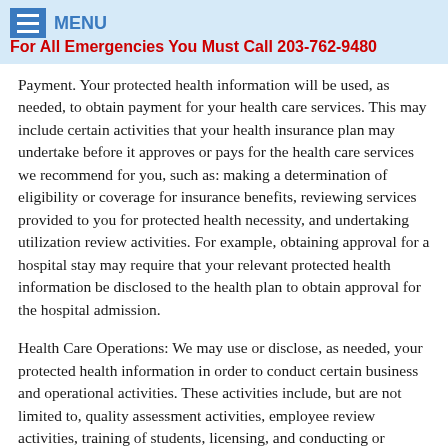MENU | For All Emergencies You Must Call 203-762-9480
Payment. Your protected health information will be used, as needed, to obtain payment for your health care services. This may include certain activities that your health insurance plan may undertake before it approves or pays for the health care services we recommend for you, such as: making a determination of eligibility or coverage for insurance benefits, reviewing services provided to you for protected health necessity, and undertaking utilization review activities. For example, obtaining approval for a hospital stay may require that your relevant protected health information be disclosed to the health plan to obtain approval for the hospital admission.
Health Care Operations: We may use or disclose, as needed, your protected health information in order to conduct certain business and operational activities. These activities include, but are not limited to, quality assessment activities, employee review activities, training of students, licensing, and conducting or arranging for other business activities.